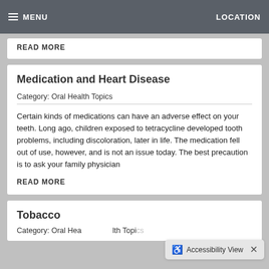MENU  LOCATION
READ MORE
Medication and Heart Disease
Category: Oral Health Topics
Certain kinds of medications can have an adverse effect on your teeth. Long ago, children exposed to tetracycline developed tooth problems, including discoloration, later in life. The medication fell out of use, however, and is not an issue today. The best precaution is to ask your family physician
READ MORE
Tobacco
Category: Oral Health Topics